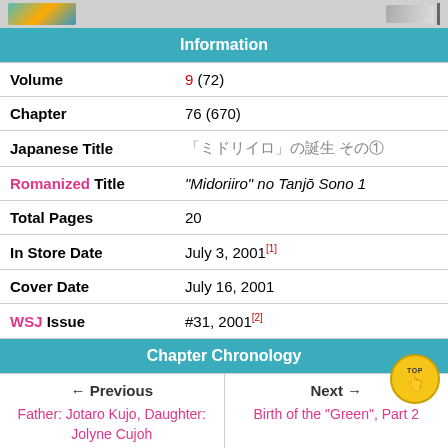[Figure (illustration): Top cropped image strip showing manga/anime character artwork on left and a wing or feather graphic on right with a vertical bar]
| Field | Value |
| --- | --- |
| Volume | 9 (72) |
| Chapter | 76 (670) |
| Japanese Title | 「ミドリイロ」の誕生 その① |
| Romanized Title | "Midoriiro" no Tanjō Sono 1 |
| Total Pages | 20 |
| In Store Date | July 3, 2001[1] |
| Cover Date | July 16, 2001 |
| WSJ Issue | #31, 2001[2] |
| ← Previous | Next → |
| --- | --- |
| Father: Jotaro Kujo, Daughter: Jolyne Cujoh | Birth of the "Green", Part 2 |
Birth of the "Green", Part 1 (「ミドリイロ」の誕生 その① "Midoriiro" no Tanjō Sono 1), originally The Boy and the Bone (骨コトコ Kootoko To Hone) in the WSJ release, is the seventy-sixth chapter of Stone Ocean and the six hundred seventieth chapter of the